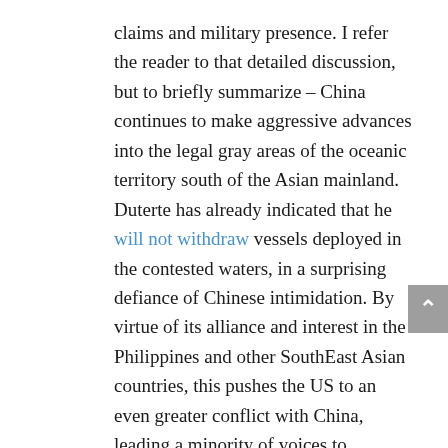claims and military presence. I refer the reader to that detailed discussion, but to briefly summarize – China continues to make aggressive advances into the legal gray areas of the oceanic territory south of the Asian mainland. Duterte has already indicated that he will not withdraw vessels deployed in the contested waters, in a surprising defiance of Chinese intimidation. By virtue of its alliance and interest in the Philippines and other SouthEast Asian countries, this pushes the US to an even greater conflict with China, leading a minority of voices to question the merits of American commitments in the region. The Biden administration has responded affirmatively to the need for support of the Philippines in this scenario with rhetoric, resources, and readying of combat groups.
US Secretary of State Blinken quickly vocalized the